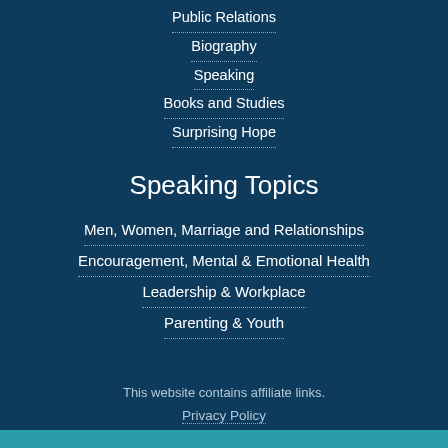Public Relations
Biography
Speaking
Books and Studies
Surprising Hope
Speaking Topics
Men, Women, Marriage and Relationships
Encouragement, Mental & Emotional Health
Leadership & Workplace
Parenting & Youth
This website contains affiliate links.
Privacy Policy